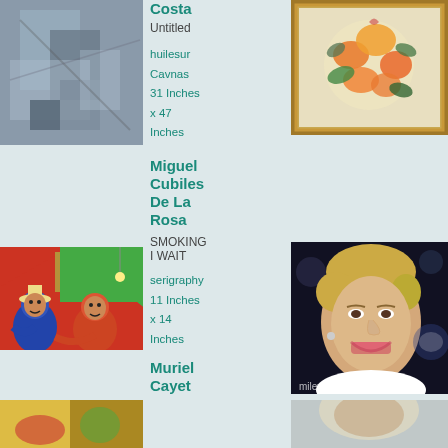[Figure (photo): Abstract grey painting - Untitled]
Costa
Untitled
huilesur Cavnas
31 Inches x 47 Inches
[Figure (photo): Floral painting in gold frame]
Miguel Cubiles De La Rosa
SMOKING I WAIT
serigraphy
11 Inches x 14 Inches
[Figure (photo): Colorful painting with figures]
[Figure (photo): Portrait photo of smiling blonde woman]
Muriel Cayet
[Figure (photo): Partial image at bottom left]
[Figure (photo): Partial image at bottom right]